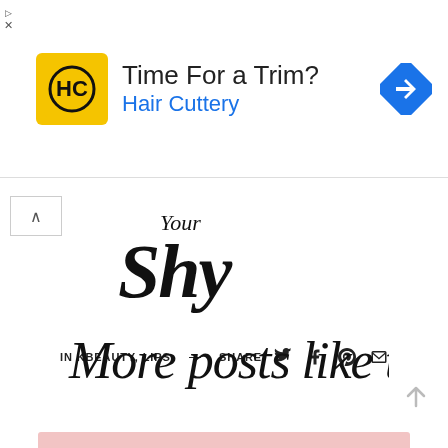[Figure (screenshot): Hair Cuttery advertisement banner with yellow logo, 'Time For a Trim?' headline, 'Hair Cuttery' brand in blue, and a blue navigation diamond icon on the right]
[Figure (logo): Blog logo in script font reading 'Not Your Shy' partially visible with handwritten style]
IN KBEAUTY, LIPS   ————————   SHARE
[Figure (illustration): Script/handwriting text reading 'More posts like this']
[Figure (photo): Partial pink/light image visible at bottom of page]